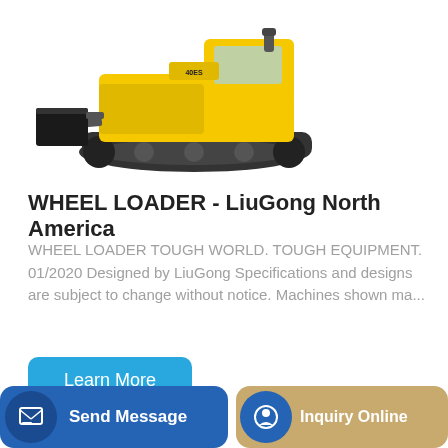[Figure (photo): Yellow tracked compact excavator/bulldozer machine on white background, top portion visible]
WHEEL LOADER - LiuGong North America
WHEEL LOADER TOUGH WORLD. TOUGH EQUIPMENT. 01/2020 Designed by LiuGong Specifications and designs are subject to change without notice. Machines shown ma...
Learn More
[Figure (photo): Volvo excavator arm/boom in dark grey, partial view with VOLVO branding visible]
Send Message
Inquiry Online